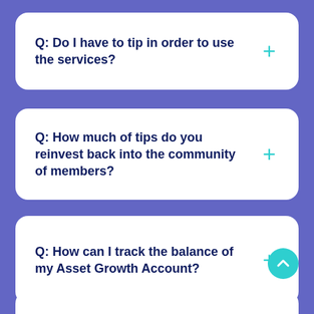Q: Do I have to tip in order to use the services?
Q: How much of tips do you reinvest back into the community of members?
Q: How can I track the balance of my Asset Growth Account?